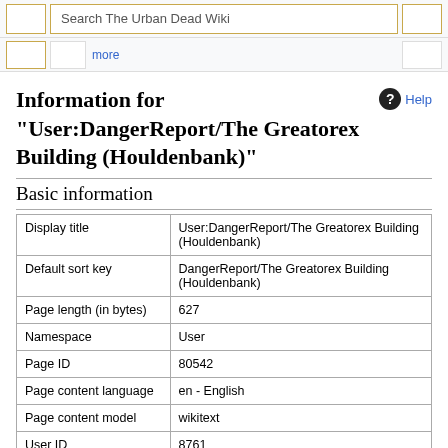Search The Urban Dead Wiki
Information for "User:DangerReport/The Greatorex Building (Houldenbank)"
Basic information
|  |  |
| --- | --- |
| Display title | User:DangerReport/The Greatorex Building (Houldenbank) |
| Default sort key | DangerReport/The Greatorex Building (Houldenbank) |
| Page length (in bytes) | 627 |
| Namespace | User |
| Page ID | 80542 |
| Page content language | en - English |
| Page content model | wikitext |
| User ID | 8761 |